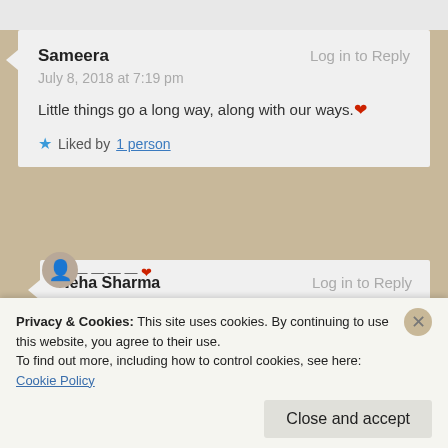Sameera — Log in to Reply
July 8, 2018 at 7:19 pm
Little things go a long way, along with our ways. ❤
★ Liked by 1 person
Neha Sharma — Log in to Reply
July 9, 2018 at 12:59 pm
Privacy & Cookies: This site uses cookies. By continuing to use this website, you agree to their use.
To find out more, including how to control cookies, see here: Cookie Policy
Close and accept